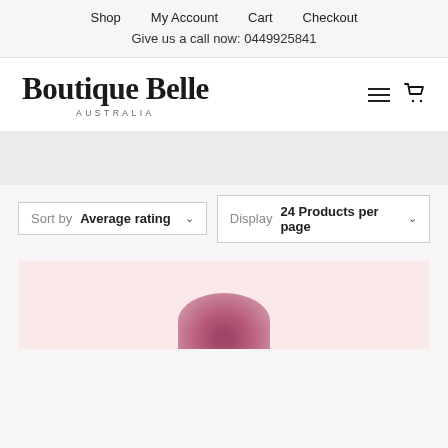Shop  My Account  Cart  Checkout
Give us a call now: 0449925841
Boutique Belle AUSTRALIA
Sort by Average rating  Display 24 Products per page
[Figure (photo): Partial product image with pink/mauve curved top visible against a light pink background]